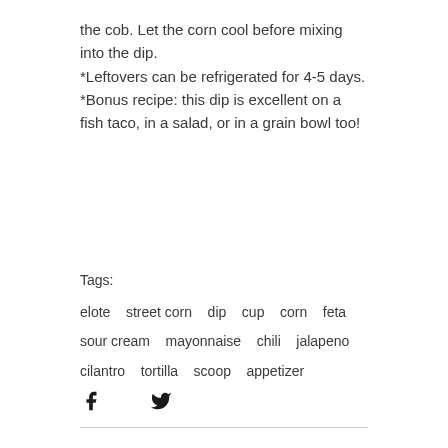the cob. Let the corn cool before mixing into the dip.
*Leftovers can be refrigerated for 4-5 days.
*Bonus recipe: this dip is excellent on a fish taco, in a salad, or in a grain bowl too!
Tags:
elote   street corn   dip   cup   corn   feta   sour cream   mayonnaise   chili   jalapeno   cilantro   tortilla   scoop   appetizer
[Figure (illustration): Facebook and Twitter social media icons]